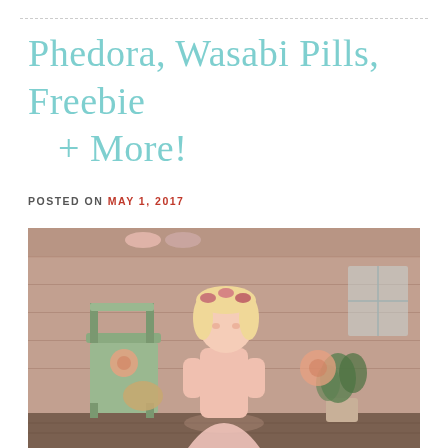Phedora, Wasabi Pills, Freebie + More!
POSTED ON MAY 1, 2017
[Figure (photo): A blonde female avatar in a pink dress and floral headpiece, standing in a styled virtual room with a green chair, potted plant, and decorative wall hangings. Scene has warm pinkish-brown tones.]